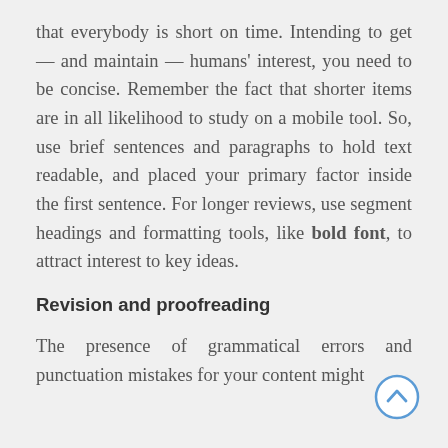that everybody is short on time. Intending to get — and maintain — humans' interest, you need to be concise. Remember the fact that shorter items are in all likelihood to study on a mobile tool. So, use brief sentences and paragraphs to hold text readable, and placed your primary factor inside the first sentence. For longer reviews, use segment headings and formatting tools, like bold font, to attract interest to key ideas.
Revision and proofreading
The presence of grammatical errors and punctuation mistakes for your content might